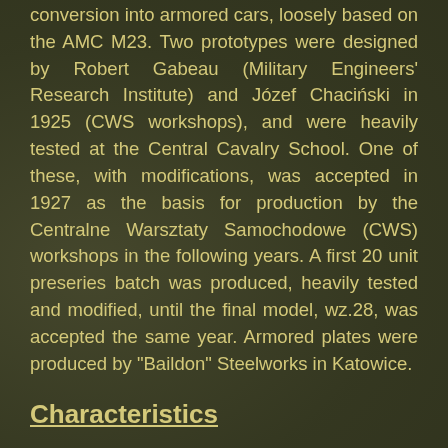conversion into armored cars, loosely based on the AMC M23. Two prototypes were designed by Robert Gabeau (Military Engineers' Research Institute) and Józef Chaciński in 1925 (CWS workshops), and were heavily tested at the Central Cavalry School. One of these, with modifications, was accepted in 1927 as the basis for production by the Centralne Warsztaty Samochodowe (CWS) workshops in the following years. A first 20 unit preseries batch was produced, heavily tested and modified, until the final model, wz.28, was accepted the same year. Armored plates were produced by "Baildon" Steelworks in Katowice.
Characteristics
The wz.28, also commonly called "CK" (Citroen-Kegresse), was a high, narrow vehicle, with the driving/fighting compartment located at the rear. It had a fully-traversable octagonal turret on top, itself crowned by a small hexagonal ventilation cupola. The